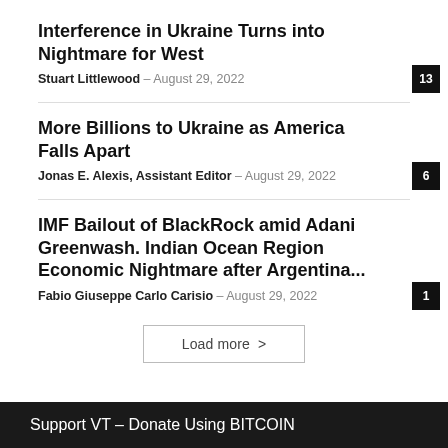Interference in Ukraine Turns into Nightmare for West
Stuart Littlewood – August 29, 2022  13
More Billions to Ukraine as America Falls Apart
Jonas E. Alexis, Assistant Editor – August 29, 2022  6
IMF Bailout of BlackRock amid Adani Greenwash. Indian Ocean Region Economic Nightmare after Argentina...
Fabio Giuseppe Carlo Carisio – August 29, 2022  1
Load more >
Support VT – Donate Using BITCOIN